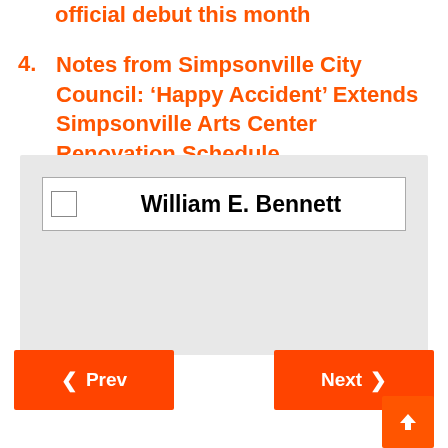official debut this month
4. Notes from Simpsonville City Council: 'Happy Accident' Extends Simpsonville Arts Center Renovation Schedule
[Figure (other): Widget/form element box with checkbox and 'William E. Bennett' text label on a gray background]
Prev  Next